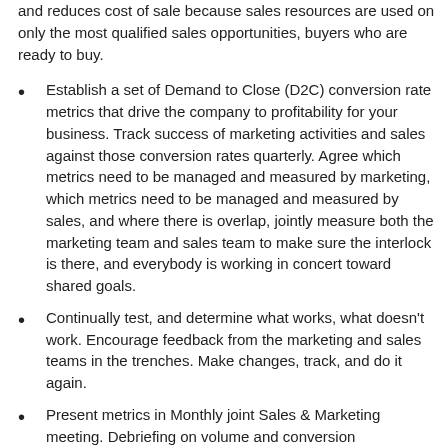and reduces cost of sale because sales resources are used on only the most qualified sales opportunities, buyers who are ready to buy.
Establish a set of Demand to Close (D2C) conversion rate metrics that drive the company to profitability for your business. Track success of marketing activities and sales against those conversion rates quarterly. Agree which metrics need to be managed and measured by marketing, which metrics need to be managed and measured by sales, and where there is overlap, jointly measure both the marketing team and sales team to make sure the interlock is there, and everybody is working in concert toward shared goals.
Continually test, and determine what works, what doesn’t work. Encourage feedback from the marketing and sales teams in the trenches. Make changes, track, and do it again.
Present metrics in Monthly joint Sales & Marketing meeting. Debriefing on volume and conversion